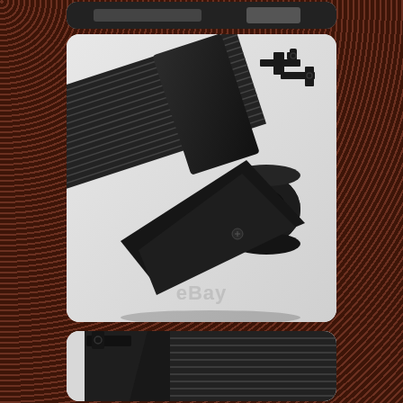[Figure (photo): Partial top strip showing bottom edge of a product image (intercooler), cropped at top of page]
[Figure (photo): Close-up photo of a black aluminum intercooler/heat exchanger showing ribbed fins on top, black end tank with mounting brackets and a circular inlet/outlet pipe, with eBay watermark at bottom center]
[Figure (photo): Partial bottom photo showing another view of the same black aluminum intercooler with mounting brackets and ribbed fins, cropped at bottom of page]